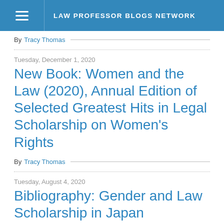LAW PROFESSOR BLOGS NETWORK
By Tracy Thomas
Tuesday, December 1, 2020
New Book: Women and the Law (2020), Annual Edition of Selected Greatest Hits in Legal Scholarship on Women's Rights
By Tracy Thomas
Tuesday, August 4, 2020
Bibliography: Gender and Law Scholarship in Japan